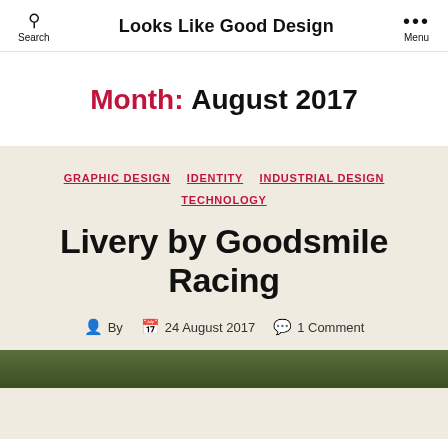Search | Looks Like Good Design | Menu
Month: August 2017
GRAPHIC DESIGN  IDENTITY  INDUSTRIAL DESIGN  TECHNOLOGY
Livery by Goodsmile Racing
By  24 August 2017  1 Comment
[Figure (photo): Bottom strip showing a green racing livery image, partially visible]